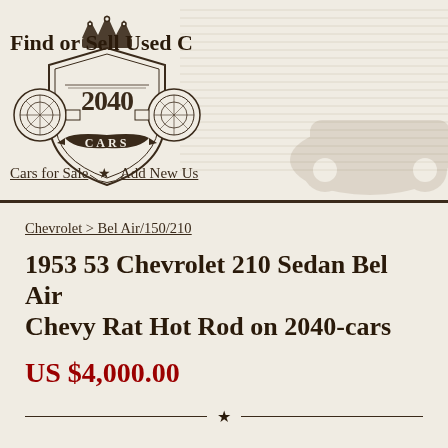[Figure (logo): 2040 Cars logo — ornate shield with crown, two circular headlights on sides, '2040' in large numbers, 'CARS' on a banner ribbon below]
Find or Sell Used C
Cars for Sale ★ Add New Us
Chevrolet > Bel Air/150/210
1953 53 Chevrolet 210 Sedan Bel Air Chevy Rat Hot Rod on 2040-cars
US $4,000.00